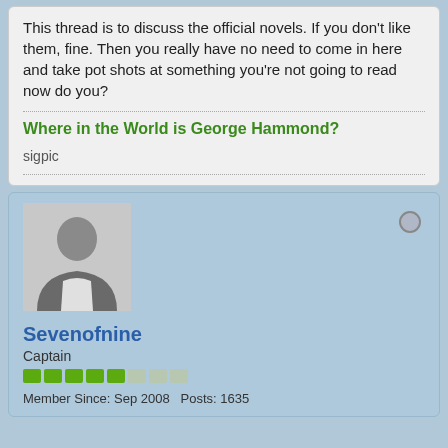This thread is to discuss the official novels. If you don't like them, fine. Then you really have no need to come in here and take pot shots at something you're not going to read now do you?
Where in the World is George Hammond?
sigpic
Sevenofnine
Captain
Member Since: Sep 2008   Posts: 1635